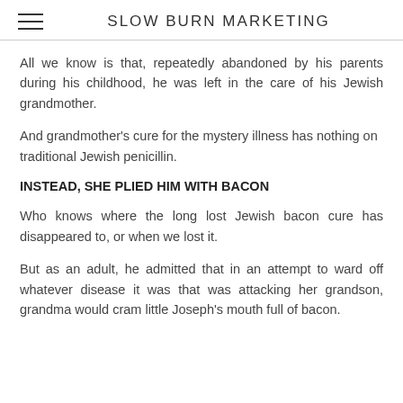SLOW BURN MARKETING
All we know is that, repeatedly abandoned by his parents during his childhood, he was left in the care of his Jewish grandmother.
And grandmother's cure for the mystery illness has nothing on traditional Jewish penicillin.
INSTEAD, SHE PLIED HIM WITH BACON
Who knows where the long lost Jewish bacon cure has disappeared to, or when we lost it.
But as an adult, he admitted that in an attempt to ward off whatever disease it was that was attacking her grandson, grandma would cram little Joseph's mouth full of bacon.